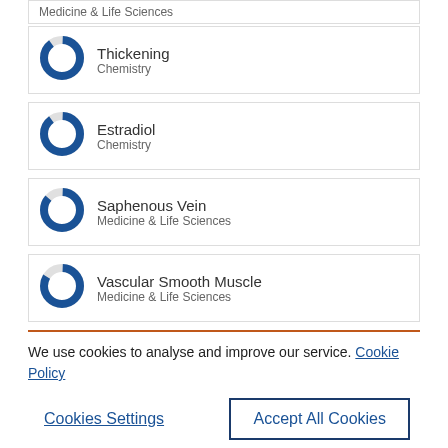Medicine & Life Sciences
Thickening
Chemistry
Estradiol
Chemistry
Saphenous Vein
Medicine & Life Sciences
Vascular Smooth Muscle
Medicine & Life Sciences
We use cookies to analyse and improve our service. Cookie Policy
Cookies Settings
Accept All Cookies